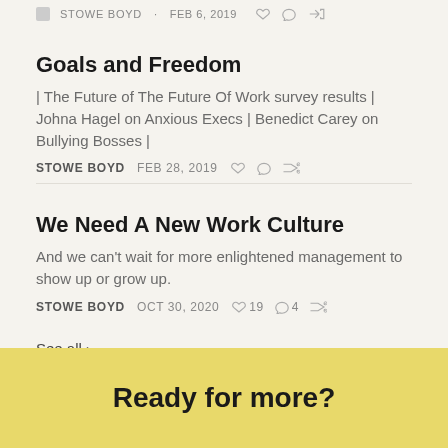STOWE BOYD · FEB 6, 2019
Goals and Freedom
| The Future of The Future Of Work survey results | Johna Hagel on Anxious Execs | Benedict Carey on Bullying Bosses |
STOWE BOYD   FEB 28, 2019
We Need A New Work Culture
And we can't wait for more enlightened management to show up or grow up.
STOWE BOYD   OCT 30, 2020   19   4
See all ›
Ready for more?